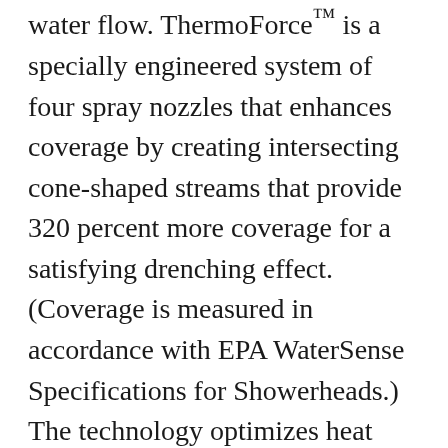water flow. ThermoForce™ is a specially engineered system of four spray nozzles that enhances coverage by creating intersecting cone-shaped streams that provide 320 percent more coverage for a satisfying drenching effect. (Coverage is measured in accordance with EPA WaterSense Specifications for Showerheads.) The technology optimizes heat through larger nozzle openings that allow for larger droplets—which retain heat longer—resulting in an invigorating shower. Lastly, ThermoForce™ expertly regulates water pressure to strike an optimal balance between water